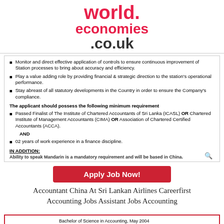[Figure (logo): worldeconomies.co.uk logo in red and black]
Monitor and direct effective application of controls to ensure continuous improvement of Station processes to bring about accuracy and efficiency.
Play a value adding role by providing financial & strategic direction to the station's operational performance.
Stay abreast of all statutory developments in the Country in order to ensure the Company's compliance.
The applicant should possess the following minimum requirement
Passed Finalist of The Institute of Chartered Accountants of Sri Lanka (ICASL) OR Chartered Institute of Management Accountants (CIMA) OR Association of Chartered Certified Accountants (ACCA).
AND
02 years of work experience in a finance discipline.
IN ADDITION:
Ability to speak Mandarin is a mandatory requirement and will be based in China.
Apply Job Now!
Accountant China At Sri Lankan Airlines Careerfirst Accounting Jobs Assistant Jobs Accounting
Bachelor of Science in Accounting, May 2004
GPA: 3.5    Major: 3.62
Alpha Sigma Nu, National Jesuit Honor Society, Inducted Spring 2003
Phi Kappa Phi, National Honor Society, Inducted Spring 2003
Dean's List: Fall 2000 – Present
COURSEWORK: Introduction to Accounting I & II, Auditing I & II, Federal Taxation, Financial Accounting I & II, Advanced Corporate Accounting